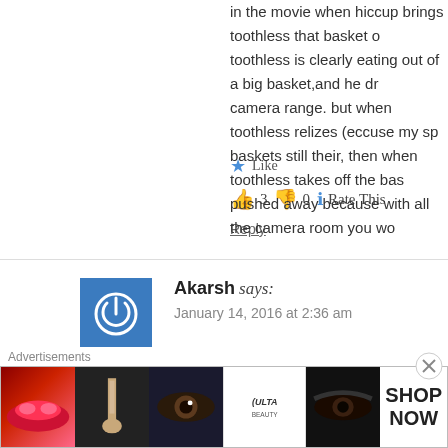in the movie when hiccup brings toothless that basket of fish toothless is clearly eating out of a big basket,and he drops out of camera range. but when toothless relizes (eccuse my spelling) baskets still their, then when toothless takes off the bas... pushed away because with all the camera room you wo...
★ Like
👍 3 👎 0 ℹ Rate This
Reply
Akarsh says:
January 14, 2016 at 2:36 am
Thanks for summing that up
[Figure (screenshot): Advertisement banner showing Ulta beauty products with SHOP NOW call to action]